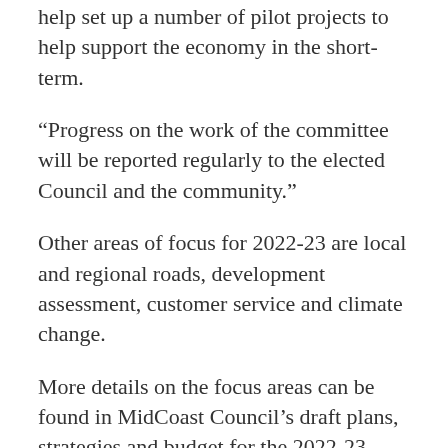help set up a number of pilot projects to help support the economy in the short-term.
“Progress on the work of the committee will be reported regularly to the elected Council and the community.”
Other areas of focus for 2022-23 are local and regional roads, development assessment, customer service and climate change.
More details on the focus areas can be found in MidCoast Council’s draft plans, strategies and budget for the 2022-23 year. These are currently on exhibition and the community is invited to make comment.
They can be found online at